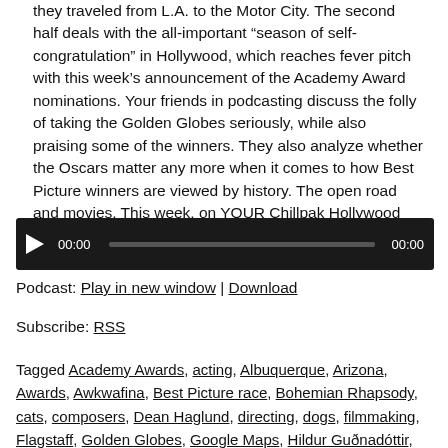they traveled from L.A. to the Motor City. The second half deals with the all-important “season of self-congratulation” in Hollywood, which reaches fever pitch with this week’s announcement of the Academy Award nominations. Your friends in podcasting discuss the folly of taking the Golden Globes seriously, while also praising some of the winners. They also analyze whether the Oscars matter any more when it comes to how Best Picture winners are viewed by history. The open road and movies. This week, on YOUR Chillpak Hollywood Hour.
[Figure (other): Audio player widget with dark background, play button, time display 00:00, progress bar, and end time 00:00]
Podcast: Play in new window | Download
Subscribe: RSS
Tagged Academy Awards, acting, Albuquerque, Arizona, Awards, Awkwafina, Best Picture race, Bohemian Rhapsody, cats, composers, Dean Haglund, directing, dogs, filmmaking, Flagstaff, Golden Globes, Google Maps, Hildur Guðnadóttir, independent film, Joker, Judy, La La Land, Moonlight, movies, musical or comedy, New Mexico, Oscars, Phil Laipner...